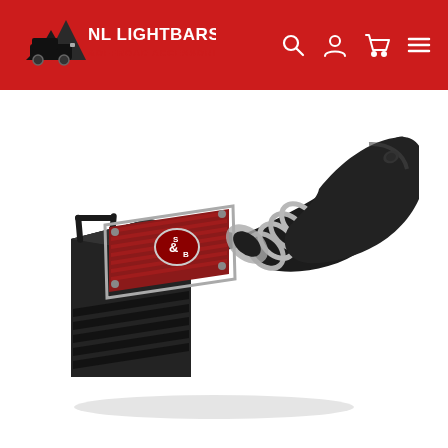NL LIGHTBARS & OFFROAD ACCESSORIES
[Figure (photo): Cold air intake system with red S&B filter in black box housing and black ribbed intake tube, product photo on white background]